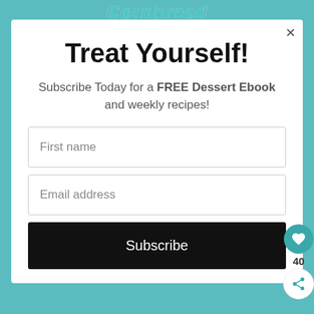Cornbread
Treat Yourself!
Subscribe Today for a FREE Dessert Ebook and weekly recipes!
First name
Email address
Subscribe